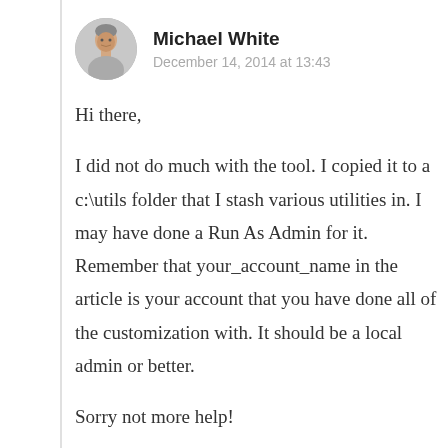[Figure (photo): Circular avatar photo of Michael White, a man]
Michael White
December 14, 2014 at 13:43
Hi there,
I did not do much with the tool. I copied it to a c:\utils folder that I stash various utilities in. I may have done a Run As Admin for it. Remember that your_account_name in the article is your account that you have done all of the customization with. It should be a local admin or better.
Sorry not more help!